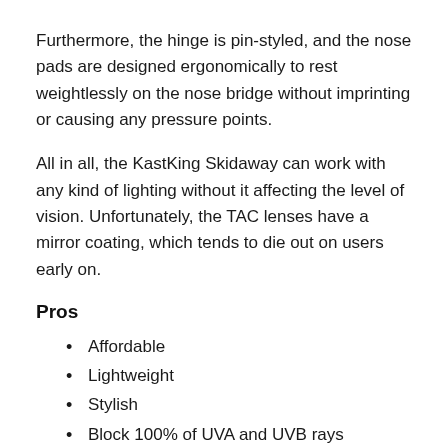Furthermore, the hinge is pin-styled, and the nose pads are designed ergonomically to rest weightlessly on the nose bridge without imprinting or causing any pressure points.
All in all, the KastKing Skidaway can work with any kind of lighting without it affecting the level of vision. Unfortunately, the TAC lenses have a mirror coating, which tends to die out on users early on.
Pros
Affordable
Lightweight
Stylish
Block 100% of UVA and UVB rays